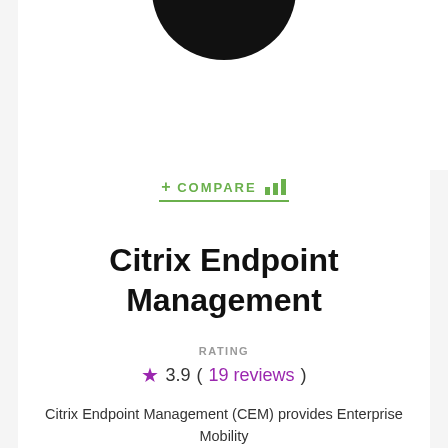[Figure (logo): Partial circular dark logo/icon visible at top center of the page]
+ COMPARE (bar chart icon)
Citrix Endpoint Management
RATING
★ 3.9 ( 19 reviews )
Citrix Endpoint Management (CEM) provides Enterprise Mobility